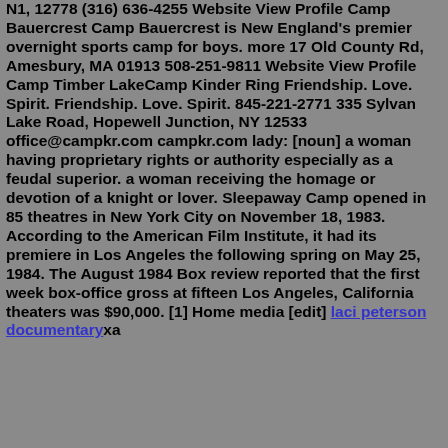N1, 12778 (316) 636-4255 Website View Profile Camp Bauercrest Camp Bauercrest is New England's premier overnight sports camp for boys. more 17 Old County Rd, Amesbury, MA 01913 508-251-9811 Website View Profile Camp Timber LakeCamp Kinder Ring Friendship. Love. Spirit. Friendship. Love. Spirit. 845-221-2771 335 Sylvan Lake Road, Hopewell Junction, NY 12533 office@campkr.com campkr.com lady: [noun] a woman having proprietary rights or authority especially as a feudal superior. a woman receiving the homage or devotion of a knight or lover. Sleepaway Camp opened in 85 theatres in New York City on November 18, 1983. According to the American Film Institute, it had its premiere in Los Angeles the following spring on May 25, 1984. The August 1984 Box review reported that the first week box-office gross at fifteen Los Angeles, California theaters was $90,000. [1] Home media [edit] laci peterson documentaryxa